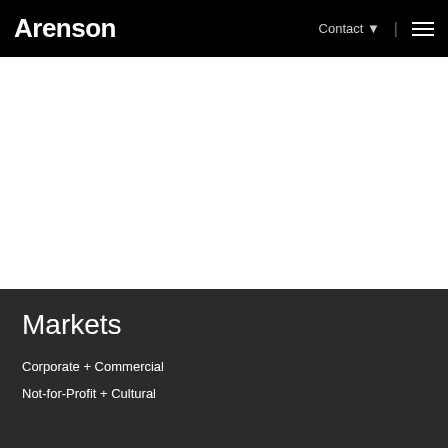Arenson
Markets
Corporate + Commercial
Not-for-Profit + Cultural